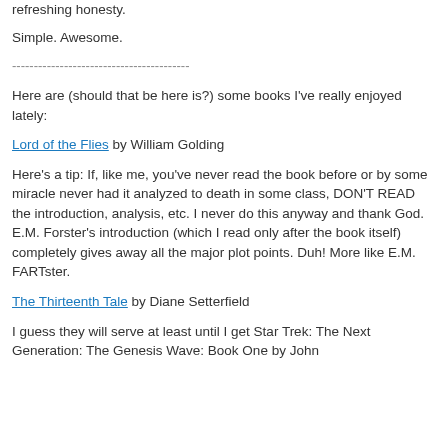refreshing honesty.
Simple. Awesome.
----------------------------------------
Here are (should that be here is?) some books I've really enjoyed lately:
Lord of the Flies by William Golding
Here's a tip: If, like me, you've never read the book before or by some miracle never had it analyzed to death in some class, DON'T READ the introduction, analysis, etc. I never do this anyway and thank God. E.M. Forster's introduction (which I read only after the book itself) completely gives away all the major plot points. Duh! More like E.M. FARTster.
The Thirteenth Tale by Diane Setterfield
I guess they will serve at least until I get Star Trek: The Next Generation: The Genesis Wave: Book One by John